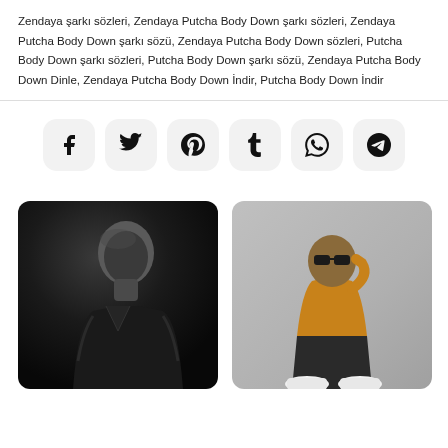Zendaya şarkı sözleri, Zendaya Putcha Body Down şarkı sözleri, Zendaya Putcha Body Down şarkı sözü, Zendaya Putcha Body Down sözleri, Putcha Body Down şarkı sözleri, Putcha Body Down şarkı sözü, Zendaya Putcha Body Down Dinle, Zendaya Putcha Body Down İndir, Putcha Body Down İndir
[Figure (other): Social media share buttons: Facebook, Twitter, Pinterest, Tumblr, WhatsApp, Telegram icons on rounded square light gray backgrounds]
[Figure (photo): Black and white portrait photo of a man in a black leather jacket with head slightly bowed, dramatic dark lighting]
[Figure (photo): Photo of a person in a yellow/orange hoodie and dark pants sitting casually, wearing white sneakers and sunglasses, gray background]